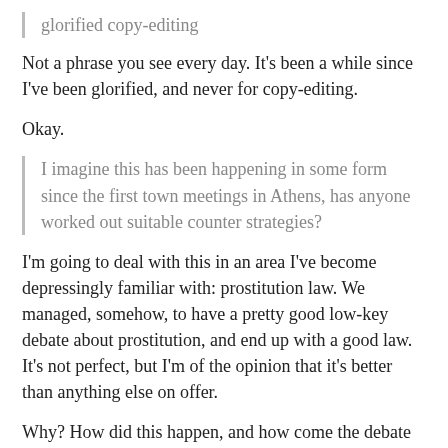glorified copy-editing
Not a phrase you see every day. It's been a while since I've been glorified, and never for copy-editing.
Okay.
I imagine this has been happening in some form since the first town meetings in Athens, has anyone worked out suitable counter strategies?
I'm going to deal with this in an area I've become depressingly familiar with: prostitution law. We managed, somehow, to have a pretty good low-key debate about prostitution, and end up with a good law. It's not perfect, but I'm of the opinion that it's better than anything else on offer.
Why? How did this happen, and how come the debate in Britain is such a shitty mess?
My reading of the situation is that what was different here from in Britain (and Sweden, and over Prop K in the US) was:
– the central involvement of the Prostitutes'